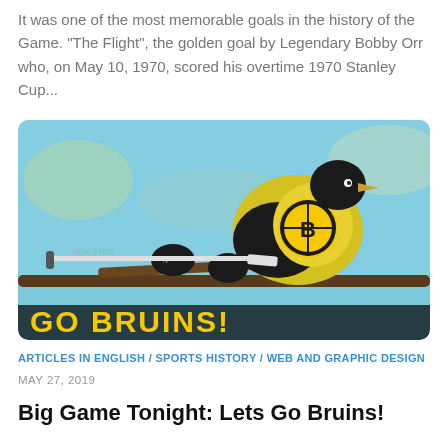It was one of the most memorable goals in the history of the Game. "The Flight", the golden goal by Legendary Bobby Orr who, on May 10, 1970, scored his overtime 1970 Stanley Cup...
[Figure (photo): A yellow and black bird (goldfinch) dressed in Boston Bruins hockey gear holding a hockey stick, perched on a branch. Text at the bottom reads GO BRUINS! in bold yellow letters.]
ARTICLES IN ENGLISH / SPORTS HISTORY / WEB AND GRAPHIC DESIGN
MAY 27, 2019
Big Game Tonight: Lets Go Bruins!